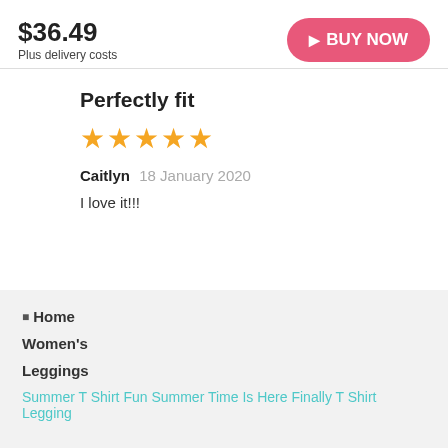$36.49
Plus delivery costs
BUY NOW
Perfectly fit
★★★★★
Caitlyn 18 January 2020
I love it!!!
Home
Women's
Leggings
Summer T Shirt Fun Summer Time Is Here Finally T Shirt Legging